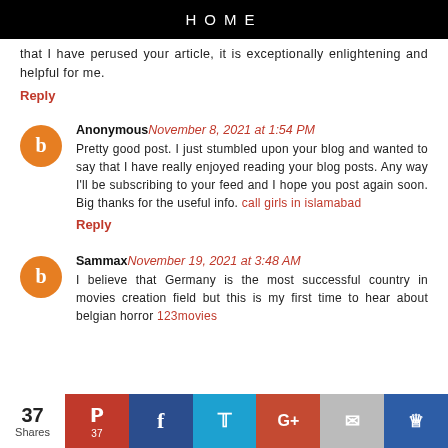HOME
that I have perused your article, it is exceptionally enlightening and helpful for me.
Reply
Anonymous November 8, 2021 at 1:54 PM
Pretty good post. I just stumbled upon your blog and wanted to say that I have really enjoyed reading your blog posts. Any way I'll be subscribing to your feed and I hope you post again soon. Big thanks for the useful info. call girls in islamabad
Reply
Sammax November 19, 2021 at 3:48 AM
I believe that Germany is the most successful country in movies creation field but this is my first time to hear about belgian horror 123movies
37 Shares